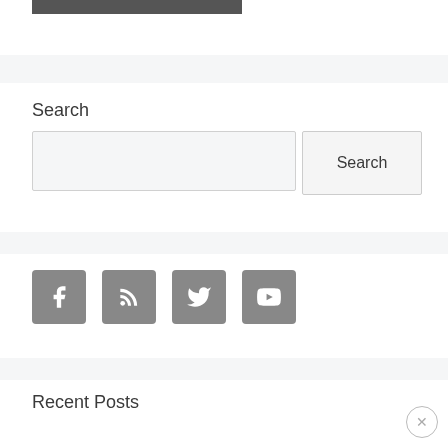[Figure (screenshot): Dark gray rectangle banner at top of page]
Search
[Figure (screenshot): Search input field with Search button]
[Figure (infographic): Social media icons: Facebook, RSS, Twitter, YouTube]
Recent Posts